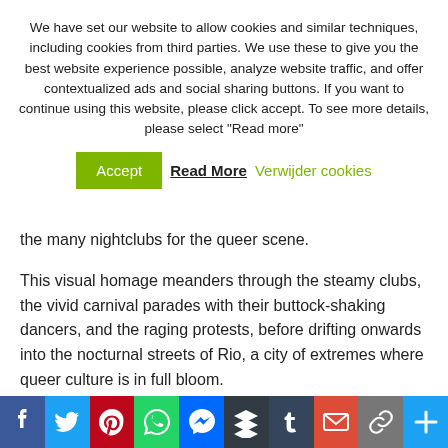We have set our website to allow cookies and similar techniques, including cookies from third parties. We use these to give you the best website experience possible, analyze website traffic, and offer contextualized ads and social sharing buttons. If you want to continue using this website, please click accept. To see more details, please select “Read more”
Accept  Read More  Verwijder cookies
the many nightclubs for the queer scene.
This visual homage meanders through the steamy clubs, the vivid carnival parades with their buttock-shaking dancers, and the raging protests, before drifting onwards into the nocturnal streets of Rio, a city of extremes where queer culture is in full bloom.
Our guide and narrator is the famous Brazilian tra… activist … Mani (1964-2017) wh… sensual and melancholy as she recites lines of poetry